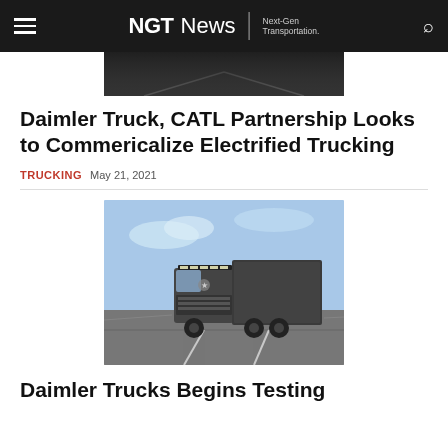NGTNews | Next-Gen Transportation.
[Figure (photo): Dark highway road photo strip at top of article]
Daimler Truck, CATL Partnership Looks to Commericalize Electrified Trucking
TRUCKING  May 21, 2021
[Figure (photo): A dark-colored Daimler electric semi-truck driving on a highway under a blue sky]
Daimler Trucks Begins Testing